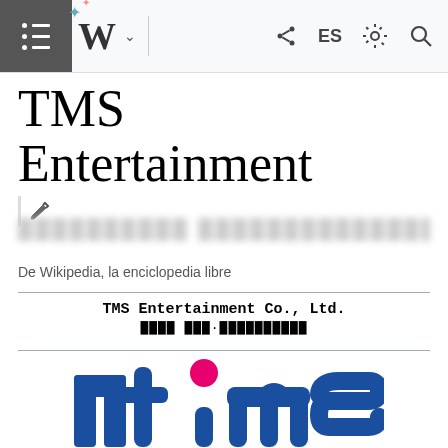Wikipedia mobile navigation bar with hamburger menu, Wikipedia W logo, ES language, share, settings, search icons
TMS Entertainment
[edit section]
De Wikipedia, la enciclopedia libre
TMS Entertainment Co., Ltd.
[Figure (logo): TMS Entertainment logo: stylized blue 'tms' letters with a pink/magenta circle dot above the 'i', on white background]